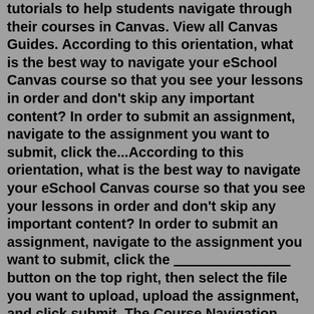tutorials to help students navigate through their courses in Canvas. View all Canvas Guides. According to this orientation, what is the best way to navigate your eSchool Canvas course so that you see your lessons in order and don't skip any important content? In order to submit an assignment, navigate to the assignment you want to submit, click the...According to this orientation, what is the best way to navigate your eSchool Canvas course so that you see your lessons in order and don't skip any important content? In order to submit an assignment, navigate to the assignment you want to submit, click the _________________________ button on the top right, then select the file you want to upload, upload the assignment, and click submit. The Course Navigation next to the Canvas global navigation bar creates a Menu for your students, creating links that allow them to move among the Review What is Chat for information on using Chat in your canvas site. Collaborations. Enabling this link in your Course